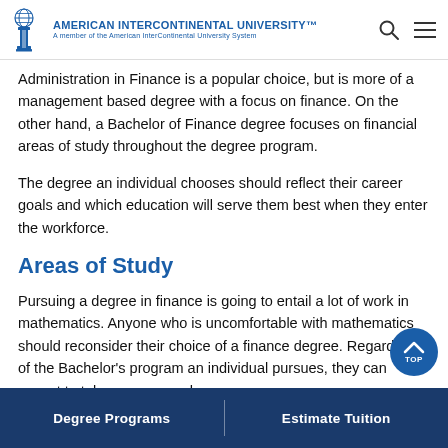American InterContinental University™ — A member of the American InterContinental University System
Administration in Finance is a popular choice, but is more of a management based degree with a focus on finance. On the other hand, a Bachelor of Finance degree focuses on financial areas of study throughout the degree program.
The degree an individual chooses should reflect their career goals and which education will serve them best when they enter the workforce.
Areas of Study
Pursuing a degree in finance is going to entail a lot of work in mathematics. Anyone who is uncomfortable with mathematics should reconsider their choice of a finance degree. Regardless of the Bachelor's program an individual pursues, they can expect to take courses such as…
Degree Programs | Estimate Tuition